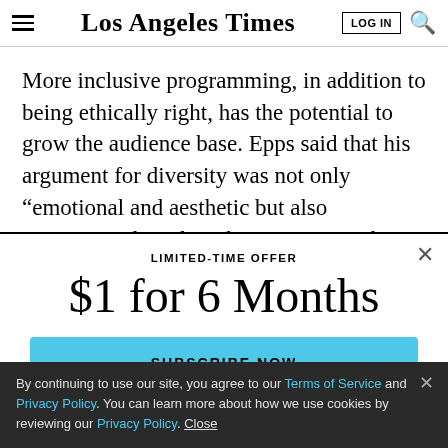Los Angeles Times
More inclusive programming, in addition to being ethically right, has the potential to grow the audience base. Epps said that his argument for diversity was not only “emotional and aesthetic but also economic,” based on the assumption that a more diverse audiences would
LIMITED-TIME OFFER
$1 for 6 Months
SUBSCRIBE NOW
By continuing to use our site, you agree to our Terms of Service and Privacy Policy. You can learn more about how we use cookies by reviewing our Privacy Policy. Close